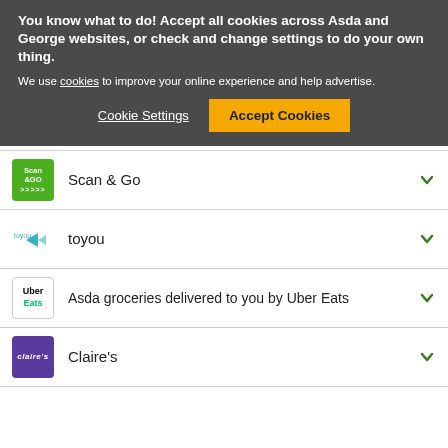You know what to do! Accept all cookies across Asda and George websites, or check and change settings to do your own thing.
We use cookies to improve your online experience and help advertise.
Cookie Settings
Accept Cookies
Scan & Go
toyou
Asda groceries delivered to you by Uber Eats
Claire's